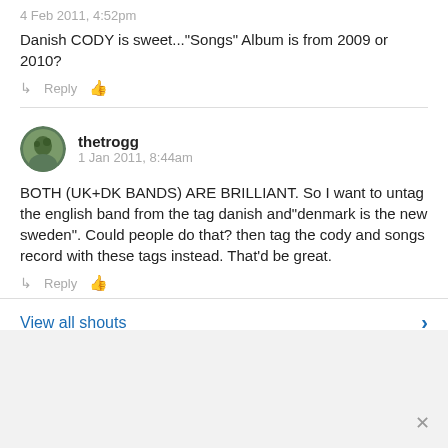4 Feb 2011, 4:52pm
Danish CODY is sweet..."Songs" Album is from 2009 or 2010?
Reply
thetrogg
1 Jan 2011, 8:44am
BOTH (UK+DK BANDS) ARE BRILLIANT. So I want to untag the english band from the tag danish and"denmark is the new sweden". Could people do that? then tag the cody and songs record with these tags instead. That'd be great.
Reply
View all shouts